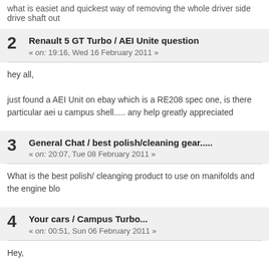what is easiet and quickest way of removing the whole driver side drive shaft out
2  Renault 5 GT Turbo / AEI Unite question
« on: 19:16, Wed 16 February 2011 »
hey all,

just found a AEI Unit on ebay which is a RE208 spec one, is there particular aei u campus shell..... any help greatly appreciated
3  General Chat / best polish/cleaning gear.....
« on: 20:07, Tue 08 February 2011 »
What is the best polish/ cleanging product to use on manifolds and the engine blo
4  Your cars / Campus Turbo...
« on: 00:51, Sun 06 February 2011 »
Hey,